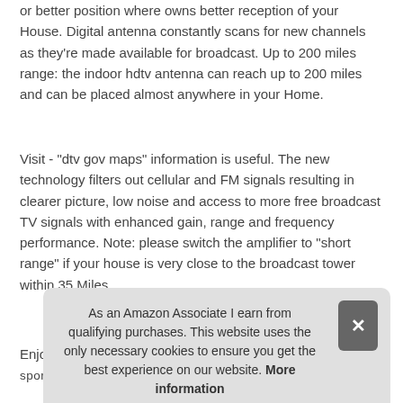or better position where owns better reception of your House. Digital antenna constantly scans for new channels as they're made available for broadcast. Up to 200 miles range: the indoor hdtv antenna can reach up to 200 miles and can be placed almost anywhere in your Home.
Visit - "dtv gov maps" information is useful. The new technology filters out cellular and FM signals resulting in clearer picture, low noise and access to more free broadcast TV signals with enhanced gain, range and frequency performance. Note: please switch the amplifier to "short range" if your house is very close to the broadcast tower within 35 Miles.
As an Amazon Associate I earn from qualifying purchases. This website uses the only necessary cookies to ensure you get the best experience on our website. More information
Enjo ante sports programs. ADVANCED TOOL FOR LIFE TO RECEIVE